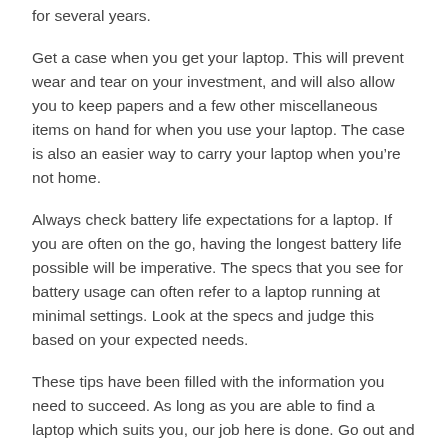for several years.
Get a case when you get your laptop. This will prevent wear and tear on your investment, and will also allow you to keep papers and a few other miscellaneous items on hand for when you use your laptop. The case is also an easier way to carry your laptop when you’re not home.
Always check battery life expectations for a laptop. If you are often on the go, having the longest battery life possible will be imperative. The specs that you see for battery usage can often refer to a laptop running at minimal settings. Look at the specs and judge this based on your expected needs.
These tips have been filled with the information you need to succeed. As long as you are able to find a laptop which suits you, our job here is done. Go out and start shopping to find the model that offers you the best features and enjoy it once you bring it home!